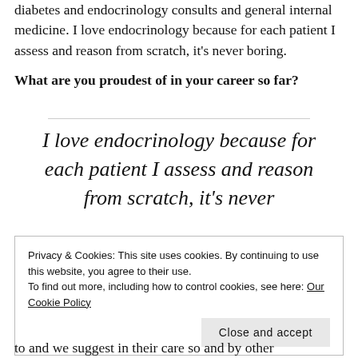diabetes and endocrinology consults and general internal medicine. I love endocrinology because for each patient I assess and reason from scratch, it's never boring.
What are you proudest of in your career so far?
I love endocrinology because for each patient I assess and reason from scratch, it's never
Privacy & Cookies: This site uses cookies. By continuing to use this website, you agree to their use.
To find out more, including how to control cookies, see here: Our Cookie Policy
Close and accept
to and we suggest in their care so and by other